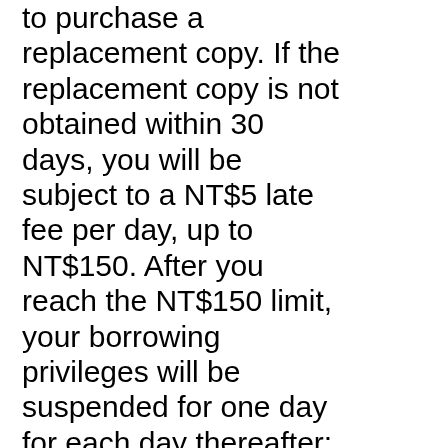to purchase a replacement copy. If the replacement copy is not obtained within 30 days, you will be subject to a NT$5 late fee per day, up to NT$150. After you reach the NT$150 limit, your borrowing privileges will be suspended for one day for each day thereafter; suspensions for multiple lost/late items are cumulative.